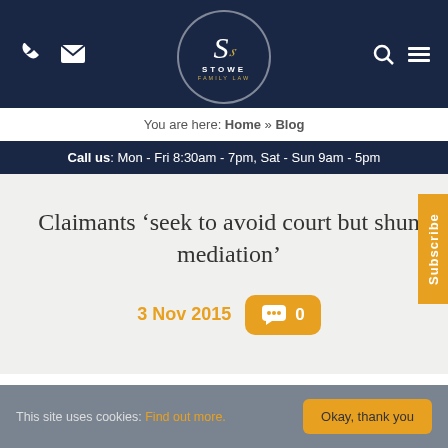Stowe Family Law - navigation header with phone, email, search, menu icons and logo
You are here: Home » Blog
Call us: Mon - Fri 8:30am - 7pm, Sat - Sun 9am - 5pm
Claimants 'seek to avoid court but shun mediation'
3 Nov 2015  0
This site uses cookies: Find out more.  Okay, thank you